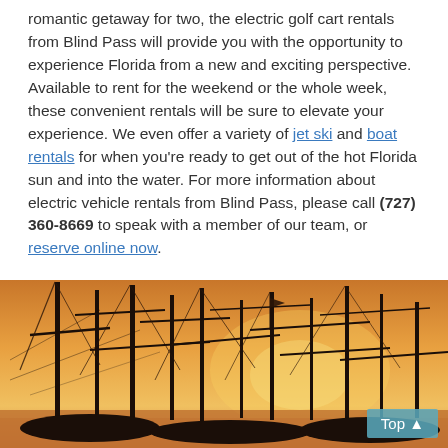romantic getaway for two, the electric golf cart rentals from Blind Pass will provide you with the opportunity to experience Florida from a new and exciting perspective. Available to rent for the weekend or the whole week, these convenient rentals will be sure to elevate your experience. We even offer a variety of jet ski and boat rentals for when you're ready to get out of the hot Florida sun and into the water. For more information about electric vehicle rentals from Blind Pass, please call (727) 360-8669 to speak with a member of our team, or reserve online now.
[Figure (photo): Silhouettes of sailboat masts against a warm orange-yellow sunset sky, marina scene.]